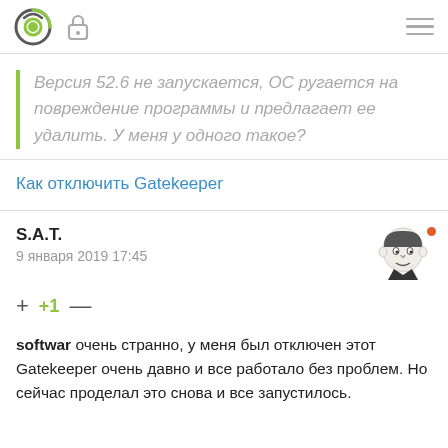Navigation bar with logo, lock icon, and hamburger menu
Версия 52.6 не запускается, ОС ругается на повреждение программы и предлагает ее удалить. У меня у одного такое?
Как отключить Gatekeeper
S.A.T.
9 января 2019 17:45
+ +1 —
softwar очень странно, у меня был отключен этот Gatekeeper очень давно и все работало без проблем. Но сейчас проделал это снова и все запустилось.